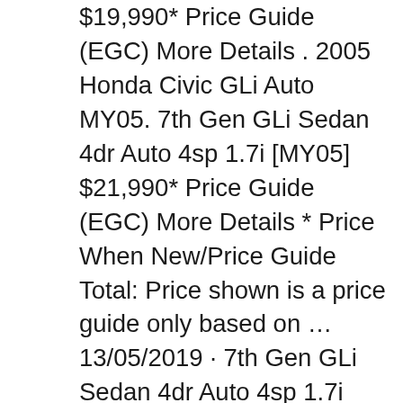$19,990* Price Guide (EGC) More Details . 2005 Honda Civic GLi Auto MY05. 7th Gen GLi Sedan 4dr Auto 4sp 1.7i [MY05] $21,990* Price Guide (EGC) More Details * Price When New/Price Guide Total: Price shown is a price guide only based on … 13/05/2019 · 7th Gen GLi Sedan 4dr Auto 4sp 1.7i [MY05] $21,990* 2005 Honda Civic GLi Manual MY05. 7th Gen GLi Sedan 4dr Man 5sp 1.7i [MY05] $19,990* Price Guide (EGC) More Details . 2005 Honda Civic GLi Auto MY05. 7th Gen GLi Sedan 4dr Auto 4sp 1.7i [MY05] $21,990* Price Guide (EGC) More Details * Price When New/Price Guide Total: Price shown is a price guide only based on ...